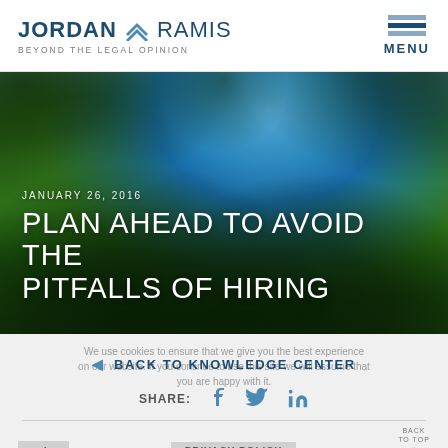JORDAN RAMIS — BEYOND THE LEGAL OPINION | MENU
[Figure (photo): Nature photo showing lush green tree canopy against bright blue sky, used as hero banner background for the article 'Plan Ahead to Avoid the Pitfalls of Hiring']
JANUARY 26, 2016
PLAN AHEAD TO AVOID THE PITFALLS OF HIRING
We use cookies to ensure that we give you the best experience on our website. If you continue to use this site we will assume that you are happy with it.
◄ BACK TO KNOWLEDGE CENTER
SHARE:
ok
PRIVACY POLICY
BACK TO TOP